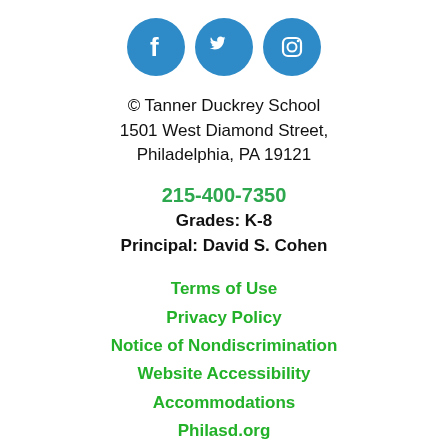[Figure (logo): Three social media icons (Facebook, Twitter, Instagram) as white icons on blue circles]
© Tanner Duckrey School
1501 West Diamond Street,
Philadelphia, PA 19121
215-400-7350
Grades: K-8
Principal: David S. Cohen
Terms of Use
Privacy Policy
Notice of Nondiscrimination
Website Accessibility
Accommodations
Philasd.org